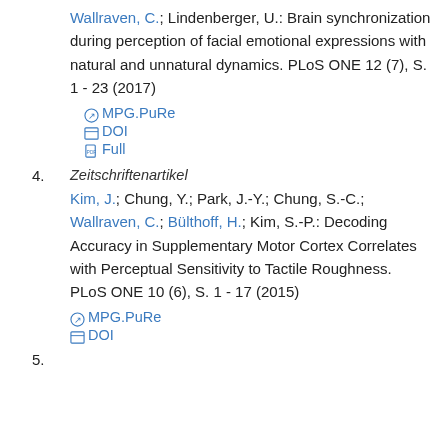Wallraven, C.; Lindenberger, U.: Brain synchronization during perception of facial emotional expressions with natural and unnatural dynamics. PLoS ONE 12 (7), S. 1 - 23 (2017)
MPG.PuRe
DOI
Full
4.
Zeitschriftenartikel
Kim, J.; Chung, Y.; Park, J.-Y.; Chung, S.-C.; Wallraven, C.; Bülthoff, H.; Kim, S.-P.: Decoding Accuracy in Supplementary Motor Cortex Correlates with Perceptual Sensitivity to Tactile Roughness. PLoS ONE 10 (6), S. 1 - 17 (2015)
MPG.PuRe
DOI
5.